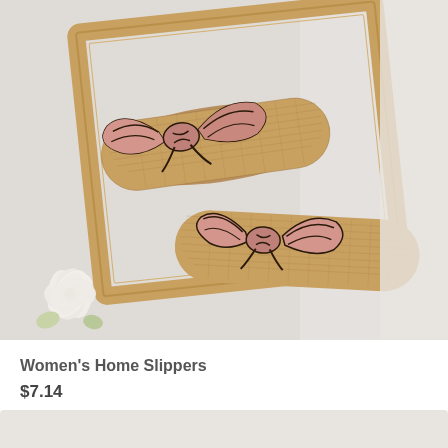[Figure (photo): Two beige/tan woven linen slippers with large pink bow decorations trimmed in dark brown/black, displayed on a wooden picture frame prop with a white hydrangea flower in the lower left corner, on a white background.]
Women's Home Slippers
$7.14